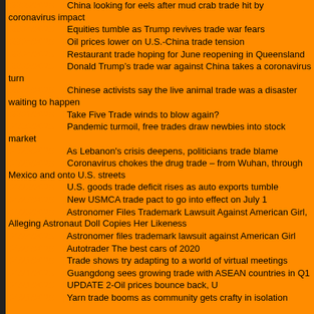05/05/2020 [-] China looking for eels after mud crab trade hit by coronavirus impact
05/04/2020 [-] Equities tumble as Trump revives trade war fears
05/04/2020 [-] Oil prices lower on U.S.-China trade tension
05/04/2020 [-] Restaurant trade hoping for June reopening in Queensland
05/02/2020 [-] Donald Trump’s trade war against China takes a coronavirus turn
05/02/2020 [-] Chinese activists say the live animal trade was a disaster waiting to happen
05/01/2020 [-] Take Five Trade winds to blow again?
04/30/2020 [-] Pandemic turmoil, free trades draw newbies into stock market
04/29/2020 [-] As Lebanon's crisis deepens, politicians trade blame
04/29/2020 [-] Coronavirus chokes the drug trade – from Wuhan, through Mexico and onto U.S. streets
04/28/2020 [-] U.S. goods trade deficit rises as auto exports tumble
04/27/2020 [-] New USMCA trade pact to go into effect on July 1
04/25/2020 [-] Astronomer Files Trademark Lawsuit Against American Girl, Alleging Astronaut Doll Copies Her Likeness
04/24/2020 [-] Astronomer files trademark lawsuit against American Girl
04/22/2020 [-] Autotrader The best cars of 2020
04/21/2020 [-] Trade shows try adapting to a world of virtual meetings
04/21/2020 [-] Guangdong sees growing trade with ASEAN countries in Q1
04/21/2020 [-] UPDATE 2-Oil prices bounce back, U
04/21/2020 [-] Yarn trade booms as community gets crafty in isolation